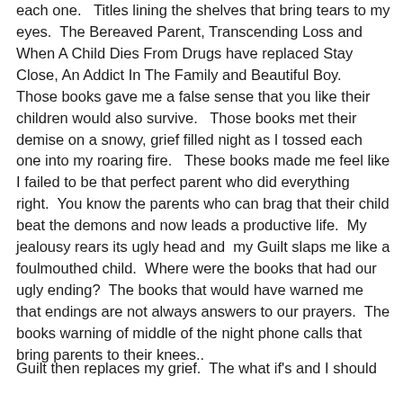each one.   Titles lining the shelves that bring tears to my eyes.  The Bereaved Parent, Transcending Loss and When A Child Dies From Drugs have replaced Stay Close, An Addict In The Family and Beautiful Boy.  Those books gave me a false sense that you like their children would also survive.   Those books met their demise on a snowy, grief filled night as I tossed each one into my roaring fire.   These books made me feel like I failed to be that perfect parent who did everything right.  You know the parents who can brag that their child beat the demons and now leads a productive life.  My jealousy rears its ugly head and  my Guilt slaps me like a foulmouthed child.  Where were the books that had our ugly ending?  The books that would have warned me that endings are not always answers to our prayers.  The books warning of middle of the night phone calls that bring parents to their knees..
Guilt then replaces my grief.  The what if's and I should